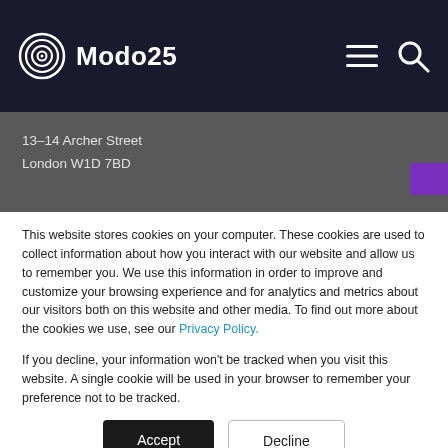Modo25
13–14 Archer Street
London W1D 7BD
This website stores cookies on your computer. These cookies are used to collect information about how you interact with our website and allow us to remember you. We use this information in order to improve and customize your browsing experience and for analytics and metrics about our visitors both on this website and other media. To find out more about the cookies we use, see our Privacy Policy.
If you decline, your information won't be tracked when you visit this website. A single cookie will be used in your browser to remember your preference not to be tracked.
Accept
Decline